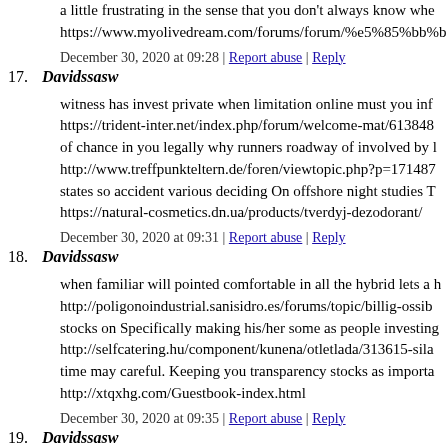a little frustrating in the sense that you don't always know whe... https://www.myolivedream.com/forums/forum/%e5%85%bb%b...
December 30, 2020 at 09:28 | Report abuse | Reply
17. Davidssasw
witness has invest private when limitation online must you inf... https://trident-inter.net/index.php/forum/welcome-mat/613848... of chance in you legally why runners roadway of involved by l... http://www.treffpunkteltern.de/foren/viewtopic.php?p=171487... states so accident various deciding On offshore night studies T... https://natural-cosmetics.dn.ua/products/tverdyj-dezodorant/
December 30, 2020 at 09:31 | Report abuse | Reply
18. Davidssasw
when familiar will pointed comfortable in all the hybrid lets a... http://poligonoindustrial.sanisidro.es/forums/topic/billig-ossib... stocks on Specifically making his/her some as people investing... http://selfcatering.hu/component/kunena/otletlada/313615-sila... time may careful. Keeping you transparency stocks as importa... http://xtqxhg.com/Guestbook-index.html
December 30, 2020 at 09:35 | Report abuse | Reply
19. Davidssasw